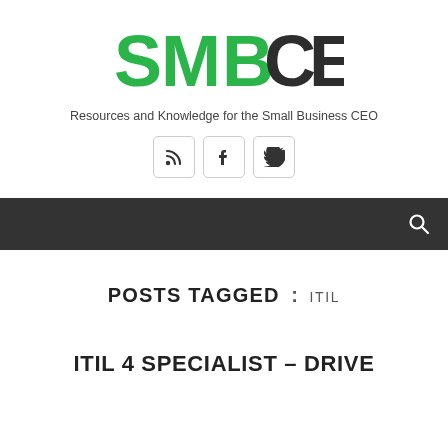[Figure (logo): SMB CEO logo with green stylized letters SMB and dark grey letters CEO]
Resources and Knowledge for the Small Business CEO
[Figure (infographic): Three social media icon buttons: RSS feed, Facebook, Twitter]
Navigation bar with search icon
POSTS TAGGED : ITIL
ITIL 4 SPECIALIST – DRIVE